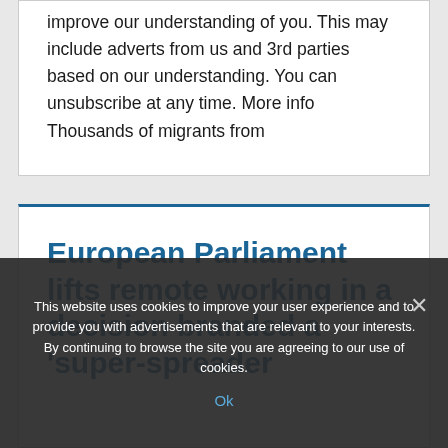improve our understanding of you. This may include adverts from us and 3rd parties based on our understanding. You can unsubscribe at any time. More info Thousands of migrants from
European Parliament lifts remote working in a decision branded a 'super-spreader
This website uses cookies to improve your user experience and to provide you with advertisements that are relevant to your interests. By continuing to browse the site you are agreeing to our use of cookies.
Ok